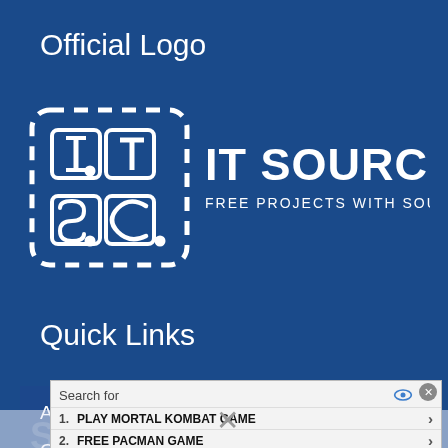Official Logo
[Figure (logo): IT SOURCECODE logo - white bracket icon with letters I.T. S.C. and text IT SOURCECODE FREE PROJECTS WITH SOURCE CODE AND TUTORIALS on dark blue background]
Quick Links
About Us
Contact Us
[Figure (screenshot): Ad overlay with Search for field, two items: 1. PLAY MORTAL KOMBAT GAME, 2. FREE PACMAN GAME, with Ad Glocal Search footer and close X button. Also shows No compatible source was found for this media message and SOURCE CODE watermark text.]